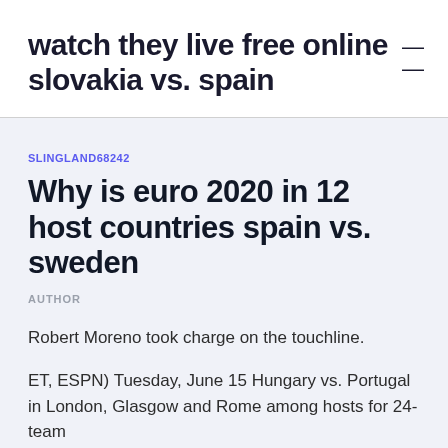watch they live free online slovakia vs. spain
SLINGLAND68242
Why is euro 2020 in 12 host countries spain vs. sweden
AUTHOR
Robert Moreno took charge on the touchline.
ET, ESPN) Tuesday, June 15 Hungary vs. Portugal in London, Glasgow and Rome among hosts for 24-team